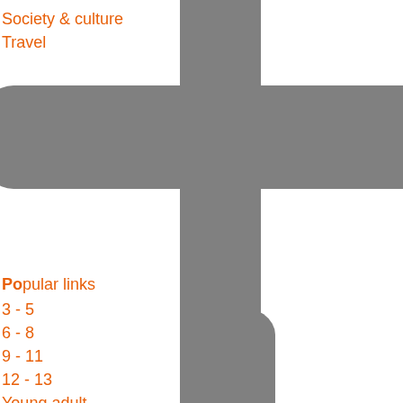Society & culture
Travel
[Figure (illustration): Large grey cross/plus symbol graphic spanning middle of the page]
Popular links
3 - 5
6 - 8
9 - 11
12 - 13
Young adult
View all ages
[Figure (illustration): Grey rounded-top vertical bar in lower right portion of the page]